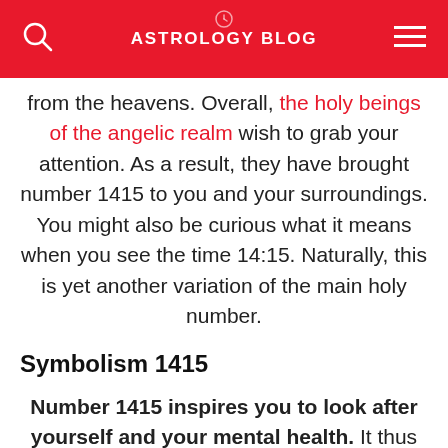ASTROLOGY BLOG
from the heavens. Overall, the holy beings of the angelic realm wish to grab your attention. As a result, they have brought number 1415 to you and your surroundings. You might also be curious what it means when you see the time 14:15. Naturally, this is yet another variation of the main holy number.
Symbolism 1415
Number 1415 inspires you to look after yourself and your mental health. It thus represents an ideally aware and wise person. So, this individual has